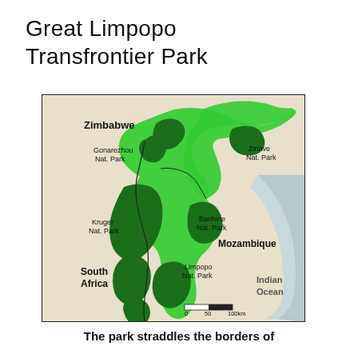Great Limpopo Transfrontier Park
[Figure (map): Map of Great Limpopo Transfrontier Park showing the park boundaries across Zimbabwe, Mozambique, and South Africa. The light green area shows the overall transfrontier park zone, dark green areas show individual national parks: Gonarezhou Nat. Park (Zimbabwe), Zinave Nat. Park (Mozambique), Banhine Nat. Park (Mozambique), Limpopo Nat. Park (Mozambique), and Kruger Nat. Park (South Africa). The map includes a scale bar (0-50-100km) and labels for Zimbabwe, Mozambique, South Africa, and Indian Ocean.]
The park straddles the borders of